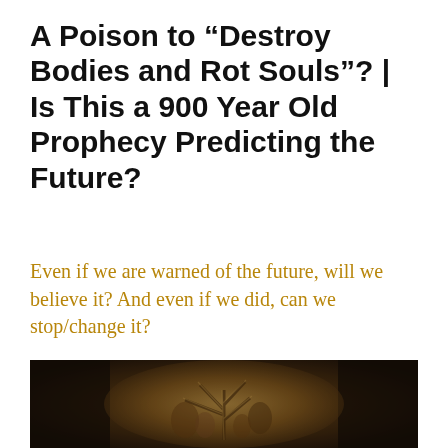A Poison to “Destroy Bodies and Rot Souls”? | Is This a 900 Year Old Prophecy Predicting the Future?
Even if we are warned of the future, will we believe it? And even if we did, can we stop/change it?
[Figure (photo): Dark ancient painting or fresco showing figures and a tree-like structure on a brown/dark background]